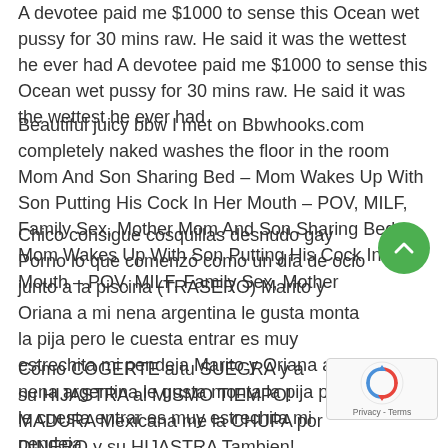A devotee paid me $1000 to sense this Ocean wet pussy for 30 mins raw. He said it was the wettest he ever had A devotee paid me $1000 to sense this Ocean wet pussy for 30 mins raw. He said it was the wettest he ever had
Beautiful juicy bbw I met on Bbwhooks.com completely naked washes the floor in the room Mom And Son Sharing Bed – Mom Wakes Up With Son Putting His Cock In Her Mouth – POV, MILF, Family Sex, Mother Mom And Son Sharing Bed – Mom Wakes Up With Son Putting His Cock In Her Mouth – POV, MILF, Family Sex, Mother
Chico consigue cosquillas desnudo gay Porno lo que comenzó como un día de ocio junto a la piscina (TRASERO) Marito y Oriana a mi nena argentina le gusta monta la pija pero le cuesta entrar es muy estrechita mi pendeja Marito y Oriana a mi nena argentina le gusta monta la pija pero le cuesta entrar es muy estrechita mi pendeja
Cómo COGERTE a tu SUEGRA y a su HIJASTRA al MISMO TIEMPO! MADURA Mexicana me la CHUPA por DINERO y su HIJASTRA Tambien! Trio Casero! 2 HOT MEXICAN MILF Suck Dick for M PARTE 2 Les seins g&eacute_ants d&rsquo_Alicia Rhodes e Stone rebondissent flappy que les culs se font labourer Les seins